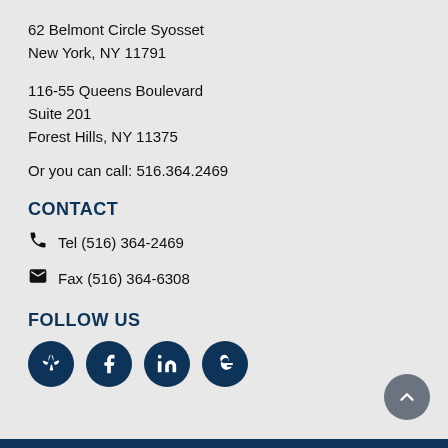62 Belmont Circle Syosset
New York, NY 11791
116-55 Queens Boulevard
Suite 201
Forest Hills, NY 11375
Or you can call: 516.364.2469
CONTACT
Tel (516) 364-2469
Fax (516) 364-6308
FOLLOW US
[Figure (infographic): Four dark navy social media icon circles: Yelp, Facebook, LinkedIn, Google. A grey back-to-top button (chevron up) at bottom right.]